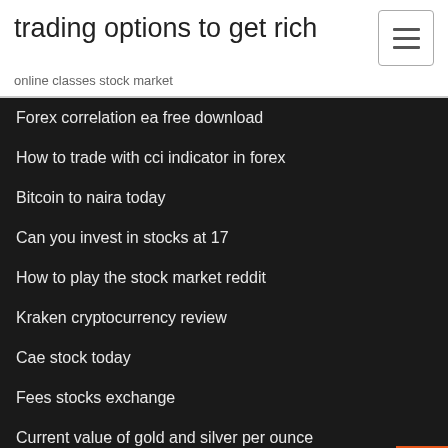trading options to get rich
online classes stock market
Forex correlation ea free download
How to trade with cci indicator in forex
Bitcoin to naira today
Can you invest in stocks at 17
How to play the stock market reddit
Kraken cryptocurrency review
Cae stock today
Fees stocks exchange
Current value of gold and silver per ounce
Robinhood cryptocurrency trading fees